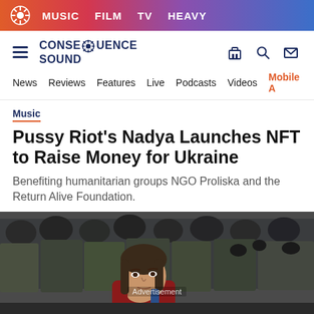MUSIC  FILM  TV  HEAVY
[Figure (logo): Consequence Sound website header logo with hamburger menu and navigation icons]
News  Reviews  Features  Live  Podcasts  Videos  Mobile A
Music
Pussy Riot's Nadya Launches NFT to Raise Money for Ukraine
Benefiting humanitarian groups NGO Proliska and the Return Alive Foundation.
[Figure (photo): Woman in red shirt in front of riot police in black gear]